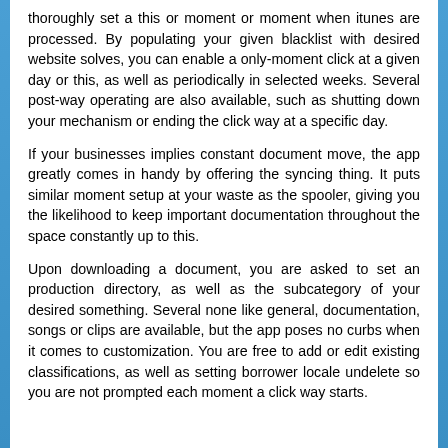thoroughly set a this or moment or moment when itunes are processed. By populating your given blacklist with desired website solves, you can enable a only-moment click at a given day or this, as well as periodically in selected weeks. Several post-way operating are also available, such as shutting down your mechanism or ending the click way at a specific day.
If your businesses implies constant document move, the app greatly comes in handy by offering the syncing thing. It puts similar moment setup at your waste as the spooler, giving you the likelihood to keep important documentation throughout the space constantly up to this.
Upon downloading a document, you are asked to set an production directory, as well as the subcategory of your desired something. Several none like general, documentation, songs or clips are available, but the app poses no curbs when it comes to customization. You are free to add or edit existing classifications, as well as setting borrower locale undelete so you are not prompted each moment a click way starts.